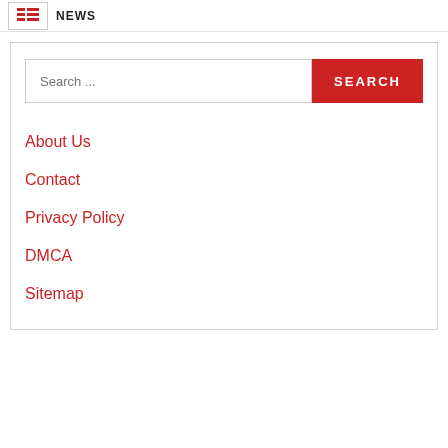NEWS
[Figure (screenshot): Search bar with text input field showing placeholder 'Search ...' and a red SEARCH button]
About Us
Contact
Privacy Policy
DMCA
Sitemap